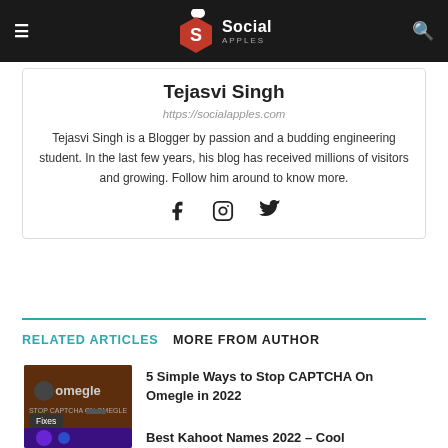Social Apples
Tejasvi Singh
https://socialapples.com
Tejasvi Singh is a Blogger by passion and a budding engineering student. In the last few years, his blog has received millions of visitors and growing. Follow him around to know more.
RELATED ARTICLES   MORE FROM AUTHOR
5 Simple Ways to Stop CAPTCHA On Omegle in 2022
Best Kahoot Names 2022 – Cool